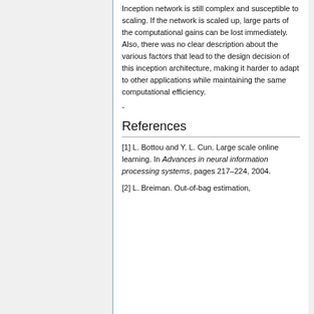Inception network is still complex and susceptible to scaling. If the network is scaled up, large parts of the computational gains can be lost immediately. Also, there was no clear description about the various factors that lead to the design decision of this inception architecture, making it harder to adapt to other applications while maintaining the same computational efficiency.
-
References
[1] L. Bottou and Y. L. Cun. Large scale online learning. In Advances in neural information processing systems, pages 217–224, 2004.
[2] L. Breiman. Out-of-bag estimation,